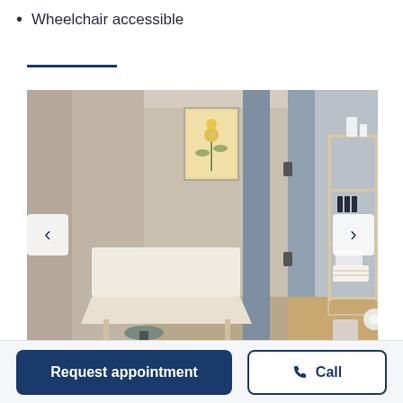Wheelchair accessible
[Figure (photo): Interior photo of a massage therapy room showing a massage table with white sheets and a small stool, with a botanical poster on the wall, and an adjacent room visible with a tall ladder shelf holding towels and bottles, blue-gray dividing panels.]
Request appointment | Call